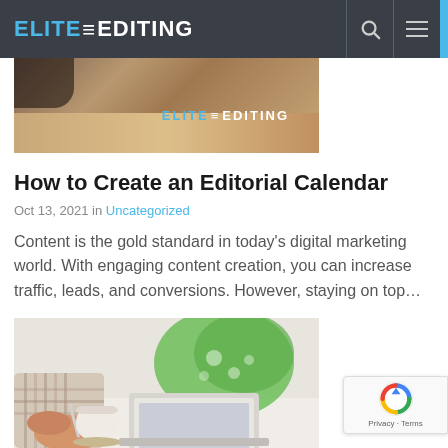ELITE EDITING
[Figure (photo): Top article image with Elite Editing watermark overlay on warm-toned desk background]
How to Create an Editorial Calendar
Oct 13, 2021 in Uncategorized
Content is the gold standard in today’s digital marketing world. With engaging content creation, you can increase traffic, leads, and conversions. However, staying on top…
[Figure (photo): Person holding a coffee cup next to a laptop with a green monstera leaf in the background]